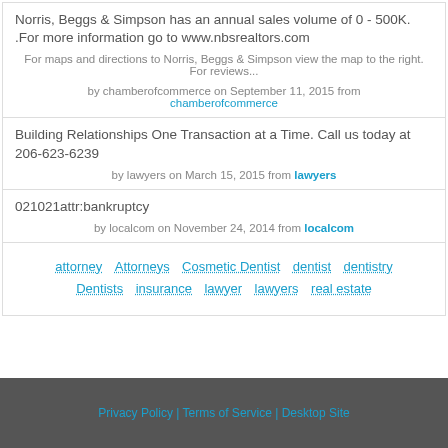Norris, Beggs & Simpson has an annual sales volume of 0 - 500K. .For more information go to www.nbsrealtors.com
by chamberofcommerce on September 11, 2015 from chamberofcommerce
For maps and directions to Norris, Beggs & Simpson view the map to the right. For reviews...
by chamberofcommerce on September 11, 2015 from chamberofcommerce
Building Relationships One Transaction at a Time. Call us today at 206-623-6239
by lawyers on March 15, 2015 from lawyers
021021attr:bankruptcy
by localcom on November 24, 2014 from localcom
attorney  Attorneys  Cosmetic Dentist  dentist  dentistry  Dentists  insurance  lawyer  lawyers  real estate
Privacy Policy | Terms of Service | Desktop Site